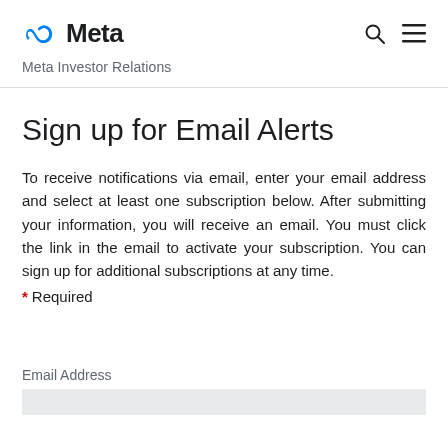Meta — Meta Investor Relations
Sign up for Email Alerts
To receive notifications via email, enter your email address and select at least one subscription below. After submitting your information, you will receive an email. You must click the link in the email to activate your subscription. You can sign up for additional subscriptions at any time.
* Required
Email Address